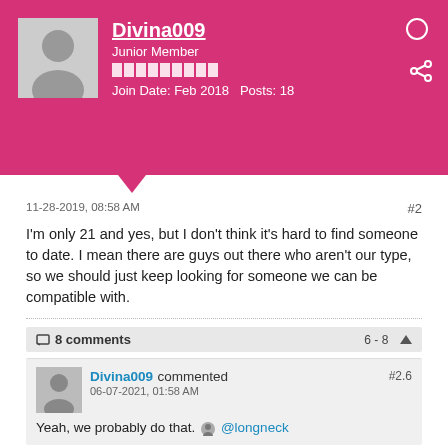Divina009 Junior Member Join Date: Feb 2018 Posts: 18
11-28-2019, 08:58 AM
#2
I'm only 21 and yes, but I don't think it's hard to find someone to date. I mean there are guys out there who aren't our type, so we should just keep looking for someone we can be compatible with.
8 comments 6-8
Divina009 commented
06-07-2021, 01:58 AM
Yeah, we probably do that. @longneck
#2.6
Divina009 commented
06-07-2021, 02:00 AM
@holleroutyo I bet it's easy for you to get a guy to hook up or to date with.
#2.7